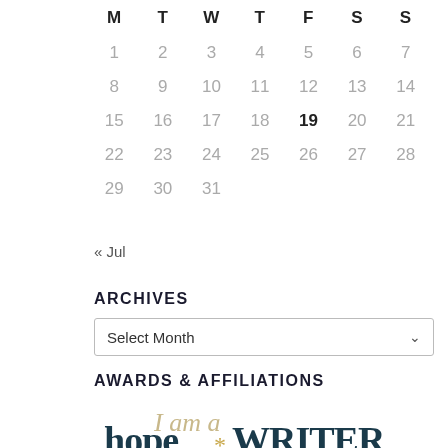| M | T | W | T | F | S | S |
| --- | --- | --- | --- | --- | --- | --- |
| 1 | 2 | 3 | 4 | 5 | 6 | 7 |
| 8 | 9 | 10 | 11 | 12 | 13 | 14 |
| 15 | 16 | 17 | 18 | 19 | 20 | 21 |
| 22 | 23 | 24 | 25 | 26 | 27 | 28 |
| 29 | 30 | 31 |  |  |  |  |
« Jul
ARCHIVES
Select Month
AWARDS & AFFILIATIONS
[Figure (illustration): I am a Hope*WRITER logo in stylized calligraphy with tan and dark teal colors]